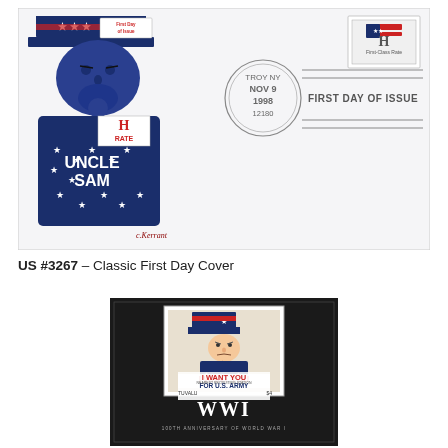[Figure (photo): First Day Cover envelope featuring Uncle Sam illustration on the left with 'H Rate' and 'Uncle Sam' text, a circular postmark reading 'TROY NY NOV 9 1998 12180' in the center, and a stamp in the upper right with 'FIRST DAY OF ISSUE' cancellation marking. The cover has a white/light gray background.]
US #3267 – Classic First Day Cover
[Figure (photo): A souvenir stamp sheet on black background featuring a Tuvalu stamp with the iconic 'I Want You For U.S. Army' Uncle Sam recruitment poster image. Below the stamp is 'WWI' in large serif letters and '100TH ANNIVERSARY OF WORLD WAR I' text at the bottom.]